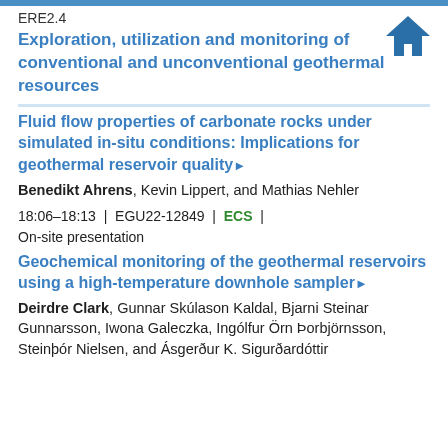ERE2.4
Exploration, utilization and monitoring of conventional and unconventional geothermal resources
Fluid flow properties of carbonate rocks under simulated in-situ conditions: Implications for geothermal reservoir quality▶
Benedikt Ahrens, Kevin Lippert, and Mathias Nehler
18:06–18:13 | EGU22-12849 | ECS | On-site presentation
Geochemical monitoring of the geothermal reservoirs using a high-temperature downhole sampler▶
Deirdre Clark, Gunnar Skúlason Kaldal, Bjarni Steinar Gunnarsson, Iwona Galeczka, Ingólfur Örn Þorbjörnsson, Steinþór Nielsen, and Ásgerður K. Sigurðardóttir